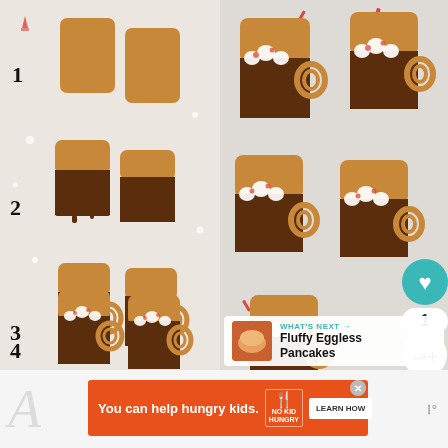[Figure (photo): Left panel: Step-by-step instructional photo showing 4 stages of making hot cocoa mug cookies: Step 1 plain rectangular cookies, Step 2 cookies half-dipped in chocolate, Step 3 cookies with pretzel handles attached, Step 4 finished cookies with marshmallow and candy topping]
[Figure (photo): Right panel: Final overhead photo of multiple completed hot cocoa mug cookies (rectangular cookies half-dipped in chocolate with pretzel handles, topped with crushed candy cane and mini marshmallows), with UI overlays: heart/like button with count 1, share button, and 'WHAT'S NEXT' panel showing Fluffy Eggless Pancakes]
WHAT'S NEXT → Fluffy Eggless Pancakes
You can help hungry kids. NO KID HUNGRY LEARN HOW